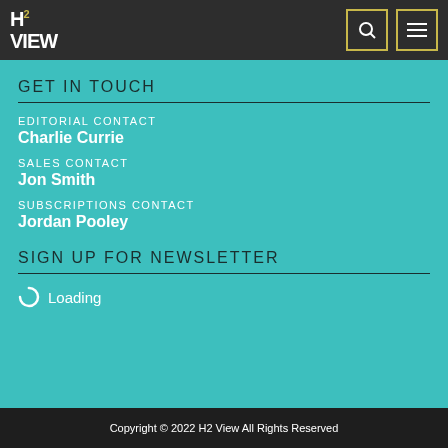H2 View
GET IN TOUCH
EDITORIAL CONTACT
Charlie Currie
SALES CONTACT
Jon Smith
SUBSCRIPTIONS CONTACT
Jordan Pooley
SIGN UP FOR NEWSLETTER
Loading
Copyright © 2022 H2 View All Rights Reserved